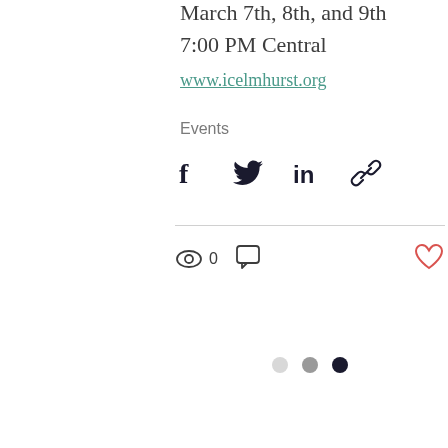March 7th, 8th, and 9th
7:00 PM Central
www.icelmhurst.org
Events
[Figure (infographic): Social share icons: Facebook, Twitter, LinkedIn, and link/chain icon]
[Figure (infographic): Stats row with eye/view icon showing 0 views, comment icon, and heart/like icon]
[Figure (infographic): Three pagination dots: light gray, medium gray, dark navy]